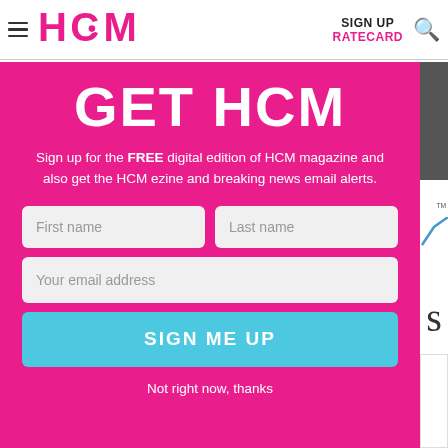HCM | SIGN UP | RATECARD
GET HCM
Sign up for the FREE digital edition of HCM magazine and also get the HCM ezine and breaking news email alerts.
First name | Last name | Your email address
SIGN ME UP
Not right now, thanks